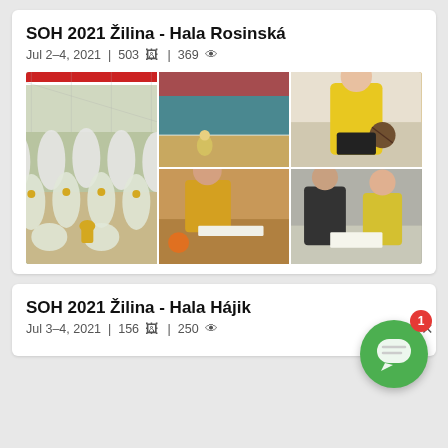SOH 2021 Žilina - Hala Rosinská
Jul 2–4, 2021 | 503 🖼 | 369 👁
[Figure (photo): Collage of 5 sports event photos: team photo of girls with medals in front of handball goal, gymnastics session in gym, girl in yellow shirt holding ball, women at registration table, official helping athlete sign document]
SOH 2021 Žilina - Hala Hájik
Jul 3–4, 2021 | 156 🖼 | 250 👁